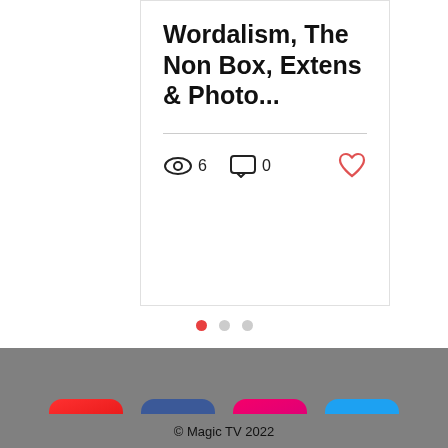Wordalism, The Non Box, Extens & Photo...
6 views  0 comments
[Figure (infographic): Three pagination dots: first dot active (red), second and third inactive (gray)]
[Figure (infographic): Social media icons row: YouTube (red), Facebook (blue), Instagram (pink/magenta), Twitter (light blue) on gray background]
BLOG
NETRIX
PODCAST
CONTACT
© Magic TV 2022